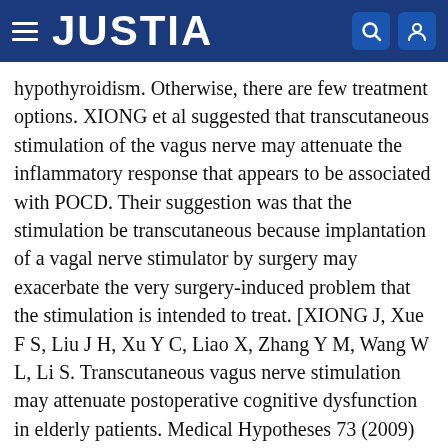JUSTIA
hypothyroidism. Otherwise, there are few treatment options. XIONG et al suggested that transcutaneous stimulation of the vagus nerve may attenuate the inflammatory response that appears to be associated with POCD. Their suggestion was that the stimulation be transcutaneous because implantation of a vagal nerve stimulator by surgery may exacerbate the very surgery-induced problem that the stimulation is intended to treat. [XIONG J, Xue F S, Liu J H, Xu Y C, Liao X, Zhang Y M, Wang W L, Li S. Transcutaneous vagus nerve stimulation may attenuate postoperative cognitive dysfunction in elderly patients. Medical Hypotheses 73 (2009) 938-941].
However, the site of transcutaneous vagal stimulation that XIONG et al suggest is the external auditory canal. This may not be as effective as stimulating at the site where vagus nerve stimulators are ordinarily implanted,